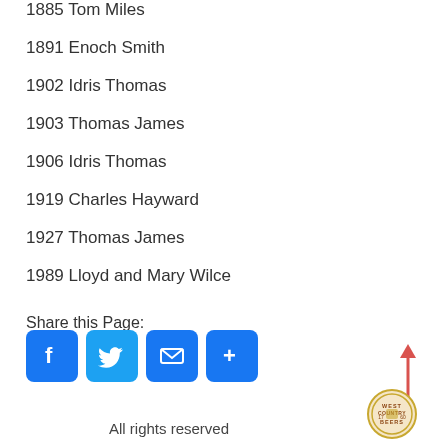1885 Tom Miles
1891 Enoch Smith
1902 Idris Thomas
1903 Thomas James
1906 Idris Thomas
1919 Charles Hayward
1927 Thomas James
1989 Lloyd and Mary Wilce
Share this Page:
[Figure (infographic): Social share buttons: Facebook, Twitter, Email, More]
[Figure (logo): West Country Beers circular logo with arrow pointing up]
All rights reserved